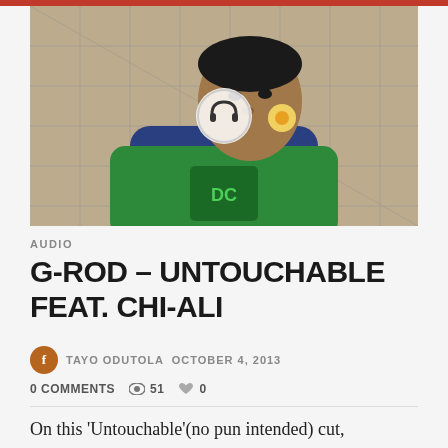[Figure (photo): Man in a green and navy blue hoodie leaning against a metal fence, looking downward. A headphone icon overlay is visible in the center of the image.]
AUDIO
G-ROD – UNTOUCHABLE FEAT. CHI-ALI
TAYO ODUTOLA  OCTOBER 4, 2013
0 COMMENTS  51  0
On this 'Untouchable'(no pun intended) cut,